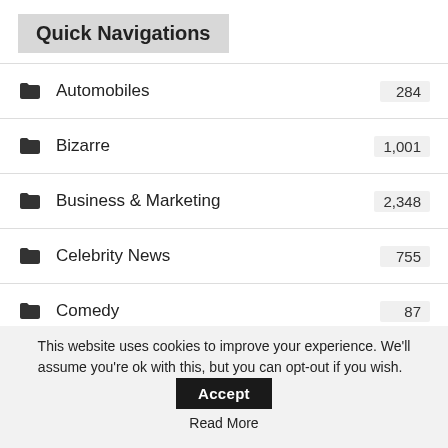Quick Navigations
Automobiles 284
Bizarre 1,001
Business & Marketing 2,348
Celebrity News 755
Comedy 87
Crime 747
Effizie On-The-G0 2
Effizzie Fashion 6
Effizzie Kitchen 106
This website uses cookies to improve your experience. We'll assume you're ok with this, but you can opt-out if you wish.
Accept
Read More